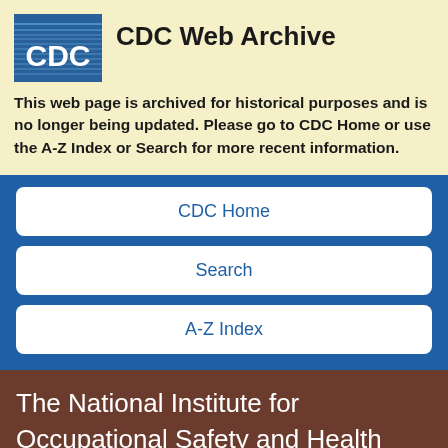[Figure (logo): CDC logo - blue square with white CDC text and stripes]
CDC Web Archive
This web page is archived for historical purposes and is no longer being updated. Please go to CDC Home or use the A-Z Index or Search for more recent information.
CDC Home
Search
A-Z Index
The National Institute for Occupational Safety and Health (NIOSH)